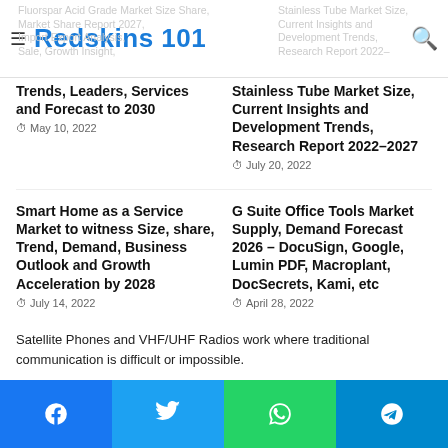Redskins 101
Trends, Leaders, Services and Forecast to 2030 — May 10, 2022
Stainless Tube Market Size, Current Insights and Development Trends, Research Report 2022–2027 — July 20, 2022
Smart Home as a Service Market to witness Size, share, Trend, Demand, Business Outlook and Growth Acceleration by 2028 — July 14, 2022
G Suite Office Tools Market Supply, Demand Forecast 2026 – DocuSign, Google, Lumin PDF, Macroplant, DocSecrets, Kami, etc — April 28, 2022
Satellite Phones and VHF/UHF Radios work where traditional communication is difficult or impossible.